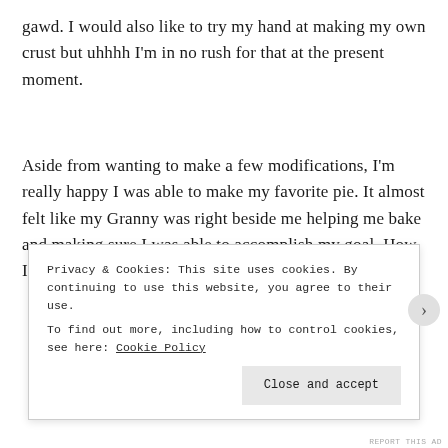gawd. I would also like to try my hand at making my own crust but uhhhh I'm in no rush for that at the present moment.
Aside from wanting to make a few modifications, I'm really happy I was able to make my favorite pie. It almost felt like my Granny was right beside me helping me bake and making sure I was able to accomplish my goal. How I
Privacy & Cookies: This site uses cookies. By continuing to use this website, you agree to their use.
To find out more, including how to control cookies, see here: Cookie Policy
Close and accept